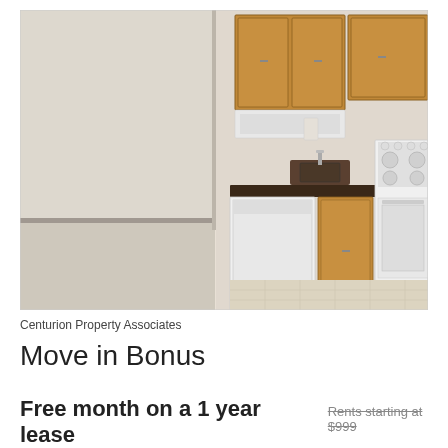[Figure (photo): Interior photo of an apartment showing an open living area with beige carpet on the left and a kitchen on the right with honey oak cabinets, dark granite countertops, white dishwasher, white stove, and tile flooring.]
Centurion Property Associates
Move in Bonus
Free month on a 1 year lease  Rents starting at $999